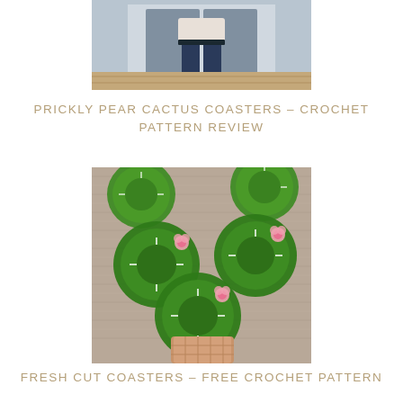[Figure (photo): Cropped photo of a person (lower body visible) standing outdoors, wearing jeans and a light top]
PRICKLY PEAR CACTUS COASTERS – CROCHET PATTERN REVIEW
[Figure (photo): Photo of crocheted prickly pear cactus coasters in green with small pink flowers, arranged on a textured brown/grey crocheted mat with a small basket visible at the bottom]
FRESH CUT COASTERS – FREE CROCHET PATTERN